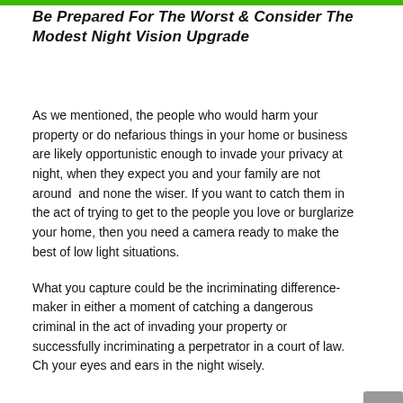Be Prepared For The Worst & Consider The Modest Night Vision Upgrade
As we mentioned, the people who would harm your property or do nefarious things in your home or business are likely opportunistic enough to invade your privacy at night, when they expect you and your family are not around and none the wiser. If you want to catch them in the act of trying to get to the people you love or burglarize your home, then you need a camera ready to make the best of low light situations.
What you capture could be the incriminating difference-maker in either a moment of catching a dangerous criminal in the act of invading your property or successfully incriminating a perpetrator in a court of law. Ch your eyes and ears in the night wisely.